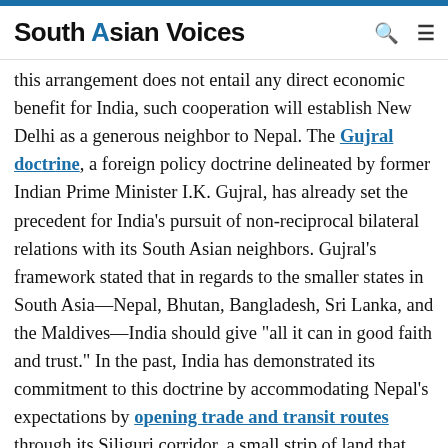South Asian Voices
this arrangement does not entail any direct economic benefit for India, such cooperation will establish New Delhi as a generous neighbor to Nepal. The Gujral doctrine, a foreign policy doctrine delineated by former Indian Prime Minister I.K. Gujral, has already set the precedent for India's pursuit of non-reciprocal bilateral relations with its South Asian neighbors. Gujral's framework stated that in regards to the smaller states in South Asia—Nepal, Bhutan, Bangladesh, Sri Lanka, and the Maldives—India should give "all it can in good faith and trust." In the past, India has demonstrated its commitment to this doctrine by accommodating Nepal's expectations by opening trade and transit routes through its Siliguri corridor, a small strip of land that connects India's mainland to its Northeastern states. India seems to have verbally committed to facilitating the crossborder trade of hydropower energy